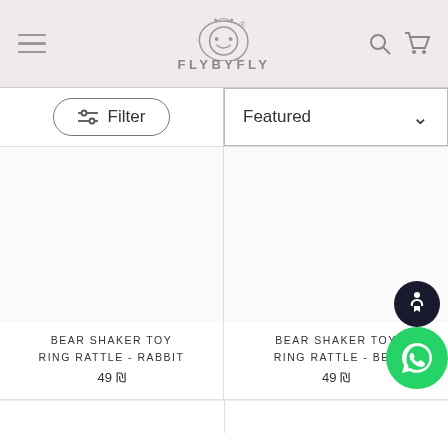[Figure (logo): FLYBYFLY brand logo with stylized face icon and brand name text]
Filter
Featured
BEAR SHAKER TOY RING RATTLE - RABBIT
49 ₪
BEAR SHAKER TOY RING RATTLE - BEA
49 ₪
[Figure (screenshot): Accessibility icon floating button]
[Figure (screenshot): WhatsApp floating button]